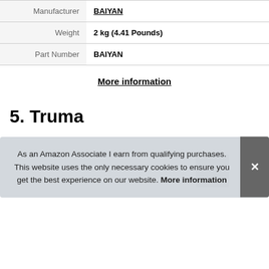| Manufacturer | BAIYAN |
| Weight | 2 kg (4.41 Pounds) |
| Part Number | BAIYAN |
More information
5. Truma
[Figure (other): Product card with partial image of Truma item, partially covered by cookie consent overlay]
As an Amazon Associate I earn from qualifying purchases. This website uses the only necessary cookies to ensure you get the best experience on our website. More information